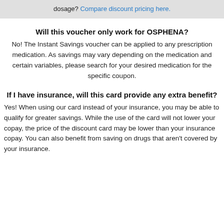dosage? Compare discount pricing here.
Will this voucher only work for OSPHENA?
No! The Instant Savings voucher can be applied to any prescription medication. As savings may vary depending on the medication and certain variables, please search for your desired medication for the specific coupon.
If I have insurance, will this card provide any extra benefit?
Yes! When using our card instead of your insurance, you may be able to qualify for greater savings. While the use of the card will not lower your copay, the price of the discount card may be lower than your insurance copay. You can also benefit from saving on drugs that aren't covered by your insurance.